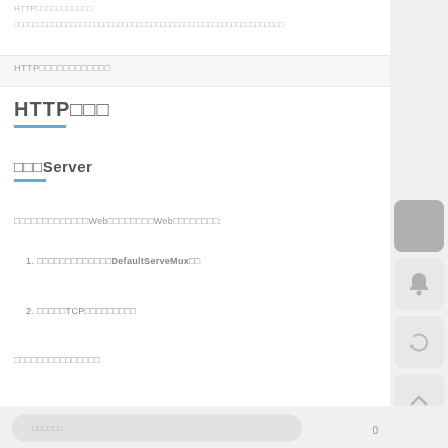HTTP□□□□□□□□□□□
HTTP□□□
□□□Server
□□□□□□□□□□□□□Web□□□□□□□□Web□□□□□□□□:
1. □□□□□□□□□□□□□DefaultServeMux□□
2. □□□□□TCP□□□□□□□□□
□□□□□□□□□□□□□□□